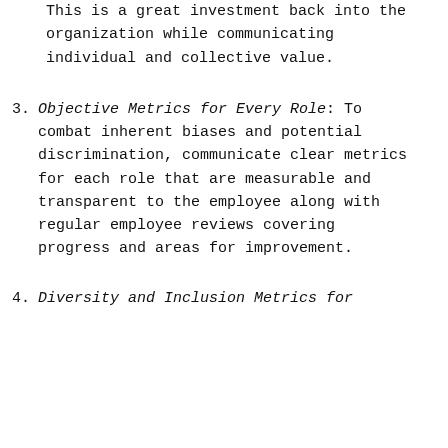This is a great investment back into the organization while communicating individual and collective value.
3. Objective Metrics for Every Role: To combat inherent biases and potential discrimination, communicate clear metrics for each role that are measurable and transparent to the employee along with regular employee reviews covering progress and areas for improvement.
4. Diversity and Inclusion Metrics for